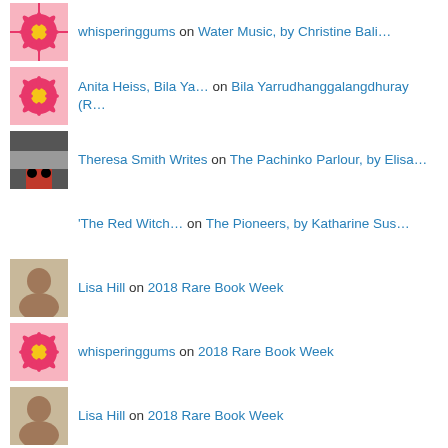whisperinggums on Water Music, by Christine Bali…
Anita Heiss, Bila Ya… on Bila Yarrudhanggalangdhuray (R…
Theresa Smith Writes on The Pachinko Parlour, by Elisa…
'The Red Witch… on The Pioneers, by Katharine Sus…
Lisa Hill on 2018 Rare Book Week
whisperinggums on 2018 Rare Book Week
Lisa Hill on 2018 Rare Book Week
whisperinggums on 2018 Rare Book Week
Lisa Hill on The Pachinko Parlour, by Elisa…
YOUR FAVOURITES TODAY
Catching Tellers, Conveying…Australia, Kangarilloo and English Kangarilloo…